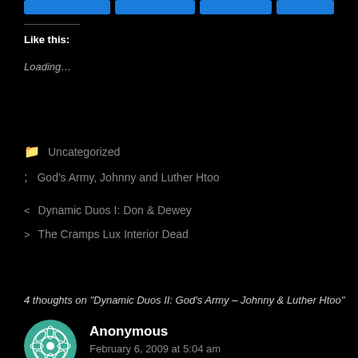[Figure (other): Social share buttons (blue rounded rectangles)]
Like this:
Loading…
Uncategorized
God's Army, Johnny and Luther Htoo
Dynamic Duos I: Don & Dewey
The Cramps Lux Interior Dead
4 thoughts on "Dynamic Duos II: God's Army – Johnny & Luther Htoo"
Anonymous
February 6, 2009 at 5:04 am